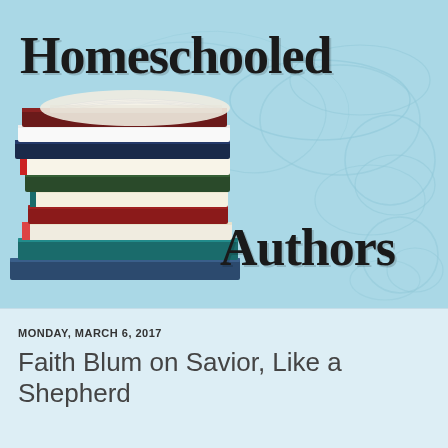[Figure (illustration): Homeschooled Authors blog banner with a stack of books on a light blue background with decorative swirl patterns. Large serif bold text reads 'Homeschooled Authors'.]
MONDAY, MARCH 6, 2017
Faith Blum on Savior, Like a Shepherd